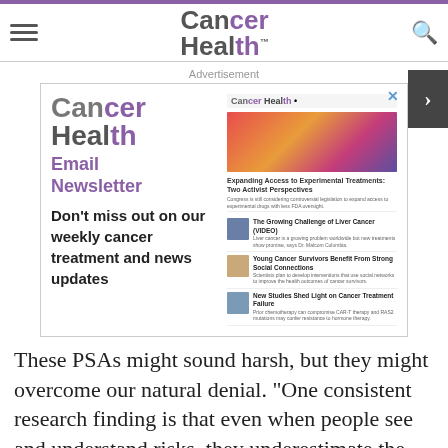Cancer Health
[Figure (screenshot): Cancer Health Email Newsletter advertisement showing the Cancer Health logo, 'Email Newsletter' text, 'Don't miss out on our weekly cancer treatment and news updates' body text, and a mock-up of the Cancer Health website with article thumbnails including 'Expanding Access to Experimental Treatments: Two Activist Perspectives', 'The Growing Challenge of Liver Cancer (VIDEO)', 'Young Cancer Survivors Benefit From Strong Social Connections', and 'New Studies Shed Light on Cancer Treatment Failure']
These PSAs might sound harsh, but they might overcome our natural denial. “One consistent research finding is that even when people see and understand risks, they underestimate the risks to themselves,” Van Bavel said. Graphs, statistics and reasonable explanations don’t do it. They don’t do it.